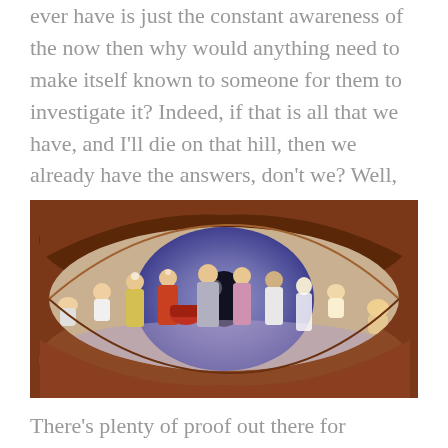ever have is just the constant awareness of the now then why would anything need to make itself known to someone for them to investigate it? Indeed, if that is all that we have, and I'll die on that hill, then we already have the answers, don't we? Well, no it would seem like we don't.
[Figure (illustration): A surreal painting of a large human eye with brownish-orange skin around it. Inside the eye's iris, which is purple/blue, several figures in traditional dress are depicted standing in a line, including women in colorful saris and other garments, along with a baby on each side. The image represents the cycle of life or reincarnation.]
There's plenty of proof out there for reincarnation. But there's an even larger amount